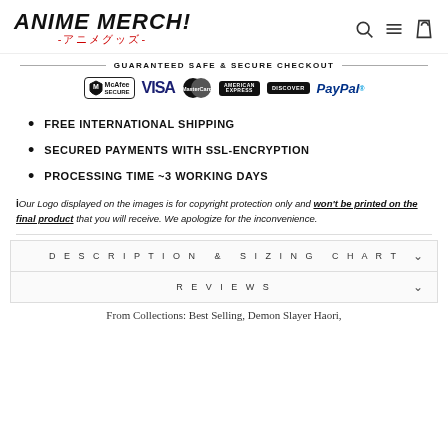ANIME MERCH! -アニメグッズ-
GUARANTEED SAFE & SECURE CHECKOUT
[Figure (logo): Payment badges: McAfee SECURE, VISA, MasterCard, American Express, Discover, PayPal]
FREE INTERNATIONAL SHIPPING
SECURED PAYMENTS WITH SSL-ENCRYPTION
PROCESSING TIME ~3 WORKING DAYS
i Our Logo displayed on the images is for copyright protection only and won't be printed on the final product that you will receive. We apologize for the inconvenience.
DESCRIPTION & SIZING CHART
REVIEWS
From Collections: Best Selling, Demon Slayer Haori,